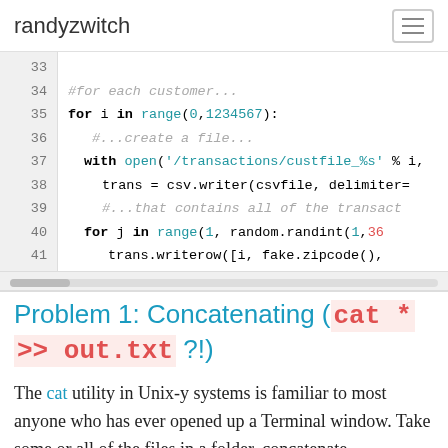randyzwitch
[Figure (screenshot): Code editor screenshot showing lines 20-41 of Python code. Lines 33-41 show: empty line 33, comment '#for each customer...' on line 34, 'for i in range(0,1234567):' on line 35, comment '#...create a file...' on line 36, 'with open('/transactions/custfile_%s' % i,' on line 37, 'trans = csv.writer(csvfile, delimiter=' on line 38, comment '#...that contains all of the transact' on line 39, 'for j in range(1, random.randint(1,36' on line 40, 'trans.writerow([i, fake.zipcode(),' on line 41.]
Problem 1: Concatenating (cat * >> out.txt ?!)
The cat utility in Unix-y systems is familiar to most anyone who has ever opened up a Terminal window. Take some or all of the files in a folder, concatenate